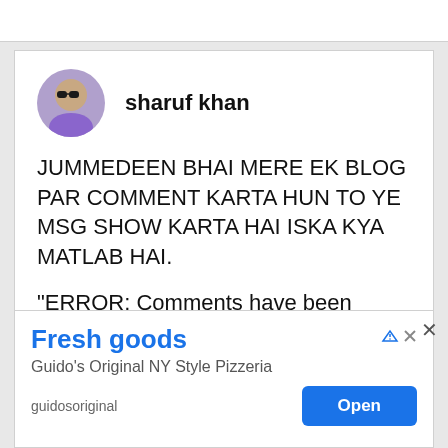[Figure (other): Top grey bar element from a mobile app or browser UI]
[Figure (photo): Avatar photo of user sharuf khan - man with sunglasses and purple shirt]
sharuf khan
JUMMEDEEN BHAI MERE EK BLOG PAR COMMENT KARTA HUN TO YE MSG SHOW KARTA HAI ISKA KYA MATLAB HAI.
"ERROR: Comments have been temporarily disabled to prevent spam.
[Figure (screenshot): Ad banner: Fresh goods - Guido's Original NY Style Pizzeria - guidosoriginal - Open button]